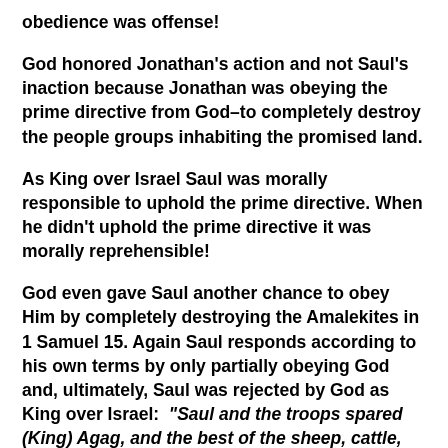obedience was offense!
God honored Jonathan's action and not Saul's inaction because Jonathan was obeying the prime directive from God–to completely destroy the people groups inhabiting the promised land.
As King over Israel Saul was morally responsible to uphold the prime directive. When he didn't uphold the prime directive it was morally reprehensible!
God even gave Saul another chance to obey Him by completely destroying the Amalekites in 1 Samuel 15. Again Saul responds according to his own terms by only partially obeying God and, ultimately, Saul was rejected by God as King over Israel: “Saul and the troops spared (King) Agag, and the best of the sheep, cattle, and choice